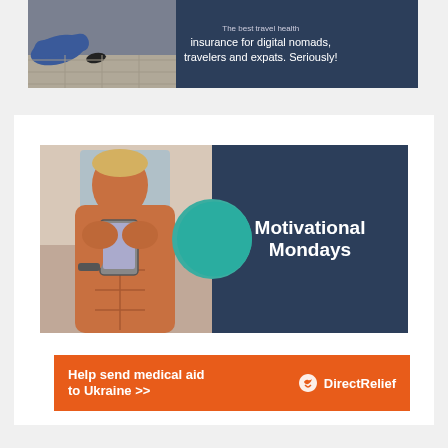[Figure (photo): Travel health insurance advertisement banner with dark navy background. Shows a person lying down on left side and text on right: 'The best travel health insurance for digital nomads, travelers and expats. Seriously!']
[Figure (photo): Motivational Mondays banner with dark navy background. Shows a muscular shirtless man taking a mirror selfie on the left, and bold white text 'Motivational Mondays' on the right with a teal circular accent.]
[Figure (infographic): Orange Direct Relief advertisement banner reading 'Help send medical aid to Ukraine >>' with the Direct Relief logo on the right.]